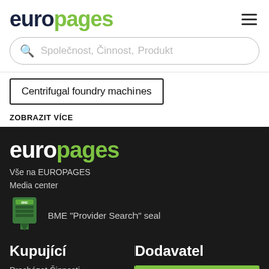[Figure (logo): Europages logo with 'euro' in dark navy and 'pages' in green]
[Figure (other): Hamburger menu icon (three horizontal lines)]
Společnost, Činnost, Produkt
Centrifugal foundry machines
ZOBRAZIT VÍCE
[Figure (logo): Europages footer logo with 'euro' in white and 'pages' in green on dark background]
Vše na EUROPAGES
Media center
[Figure (logo): BME Provider Search seal badge icon]
BME "Provider Search" seal
Kupující
Dodavatel
Procházet Činnosti
UVÉST REFERENCI NAŠÍ SPOLEČNOSTI